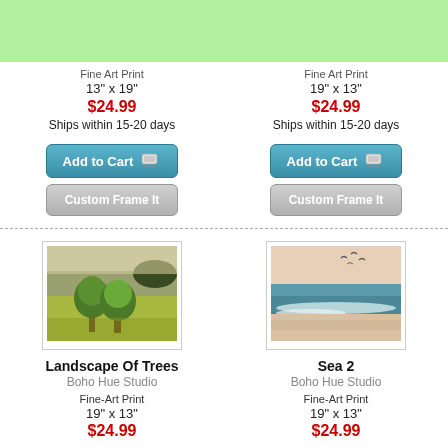[Figure (other): Green header bar at top of page]
Fine Art Print
13" x 19"
$24.99
Ships within 15-20 days
Fine Art Print
19" x 13"
$24.99
Ships within 15-20 days
Add to Cart (left column)
Custom Frame It (left column)
Add to Cart (right column)
Custom Frame It (right column)
[Figure (photo): Landscape painting with trees in a field]
[Figure (photo): Ocean/sea scene with waves and birds]
Landscape Of Trees
Boho Hue Studio
Fine-Art Print
19" x 13"
$24.99
Sea 2
Boho Hue Studio
Fine-Art Print
19" x 13"
$24.99